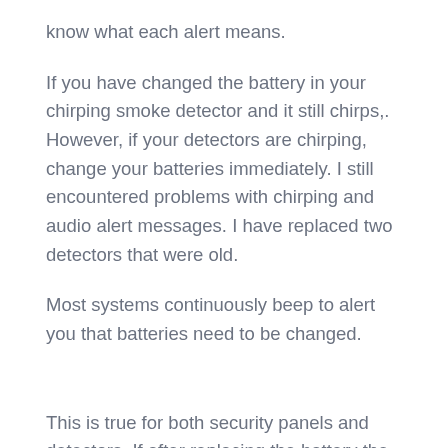know what each alert means.
If you have changed the battery in your chirping smoke detector and it still chirps,. However, if your detectors are chirping, change your batteries immediately. I still encountered problems with chirping and audio alert messages. I have replaced two detectors that were old.
Most systems continuously beep to alert you that batteries need to be changed.
This is true for both security panels and detectors. If after replacing the battery the alarm is still beeping, the smoke alarm is bad